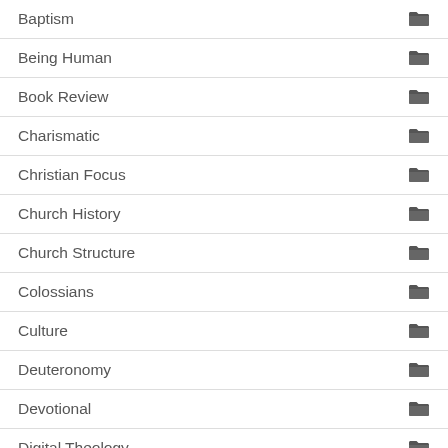Baptism
Being Human
Book Review
Charismatic
Christian Focus
Church History
Church Structure
Colossians
Culture
Deuteronomy
Devotional
Digital Theology
Disability